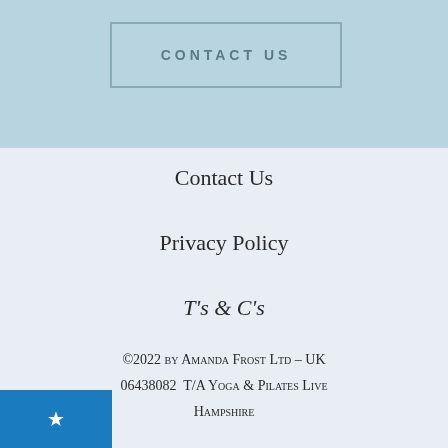CONTACT US
Contact Us
Privacy Policy
T's & C's
©2022 by Amanda Frost Ltd – UK  06438082  T/A Yoga & Pilates Live  Hampshire